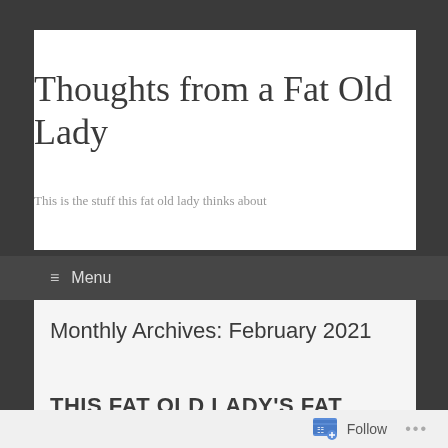Thoughts from a Fat Old Lady
This is the stuff this fat old lady thinks about
≡ Menu
Monthly Archives: February 2021
THIS FAT OLD LADY'S FAT
Follow ...